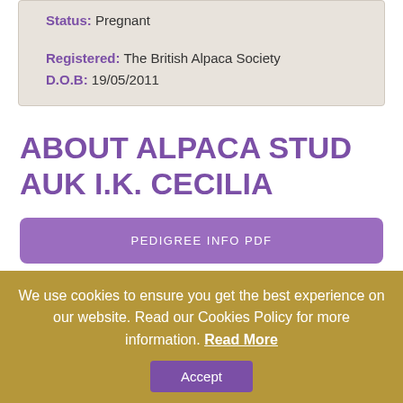Status: Pregnant
Registered: The British Alpaca Society
D.O.B: 19/05/2011
ABOUT ALPACA STUD AUK I.K. CECILIA
[Figure (other): Purple button labeled PEDIGREE INFO PDF]
Cecilia is a beautiful solid light brown Huacaya. Her sire is
We use cookies to ensure you get the best experience on our website. Read our Cookies Policy for more information. Read More
Accept